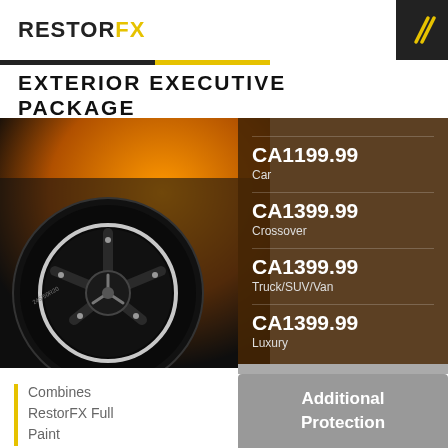RestorFX
EXTERIOR EXECUTIVE PACKAGE
[Figure (photo): Close-up photo of a Mercedes-Benz black alloy wheel on an orange car, with price overlay panel showing CA1199.99 Car, CA1399.99 Crossover, CA1399.99 Truck/SUV/Van, CA1399.99 Luxury]
Combines RestorFX Full Paint
Additional Protection